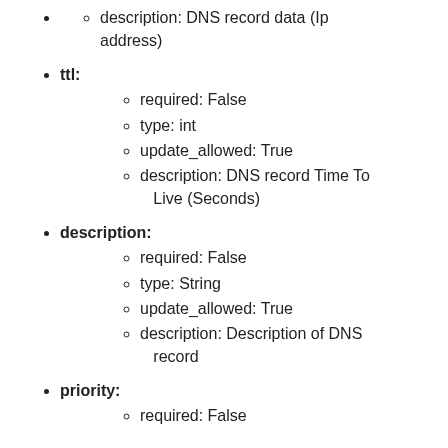description: DNS record data (Ip address)
ttl:
required: False
type: int
update_allowed: True
description: DNS record Time To Live (Seconds)
description:
required: False
type: String
update_allowed: True
description: Description of DNS record
priority:
required: False